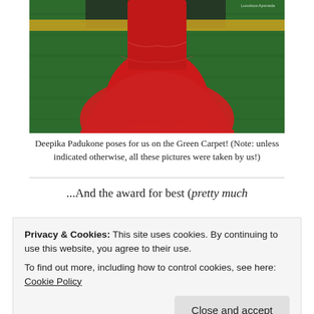[Figure (photo): Photo of Deepika Padukone on the Green Carpet, showing the bottom half of a red gown against green carpet background, with a gold horizontal banner and a small watermark reading 'Luxurious Ayurveda' in the top right corner.]
Deepika Padukone poses for us on the Green Carpet! (Note: unless indicated otherwise, all these pictures were taken by us!)
...And the award for best (pretty much
Privacy & Cookies: This site uses cookies. By continuing to use this website, you agree to their use.
To find out more, including how to control cookies, see here: Cookie Policy
night, however, was the real Milkha Singh.